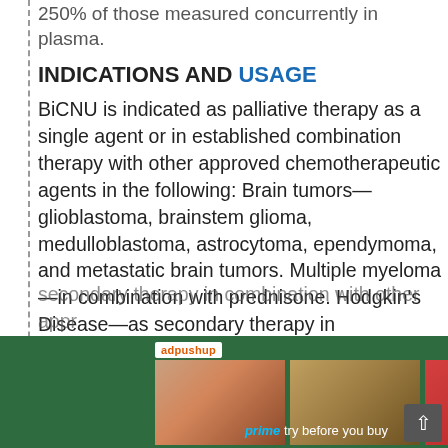250% of those measured concurrently in plasma.
INDICATIONS AND USAGE
BiCNU is indicated as palliative therapy as a single agent or in established combination therapy with other approved chemotherapeutic agents in the following: Brain tumors—glioblastoma, brainstem glioma, medulloblastoma, astrocytoma, ependymoma, and metastatic brain tumors. Multiple myeloma—in combination with prednisone. Hodgkin's Disease—as secondary therapy in combination with other approved drugs in patients who relapse while being treated with primary therapy, or who fail to respond to primary therapy. Non-Hodgkin's lymphomas—as secondary therapy in combination with other approved
[Figure (screenshot): Advertisement overlay: adpushup badge with Amazon Prime 'try before you buy' banner showing product images on green background]